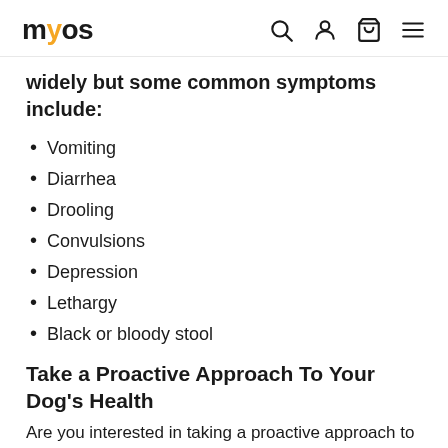myos
widely but some common symptoms include:
Vomiting
Diarrhea
Drooling
Convulsions
Depression
Lethargy
Black or bloody stool
Take a Proactive Approach To Your Dog’s Health
Are you interested in taking a proactive approach to keeping your dog healthy and improving their wellbeing? Find out more about MYOS Canine Muscle Formula, powered by Fortetropin for your dog. And,